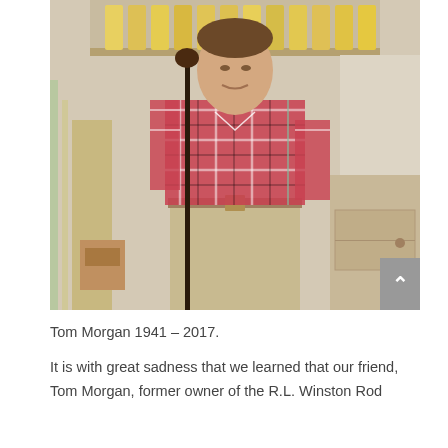[Figure (photo): Man in plaid shirt and khaki pants standing in a workshop, holding a long dark rod/cane, with yellow rod blanks on a shelf behind him and a workbench/cabinet to the right.]
Tom Morgan 1941 – 2017.
It is with great sadness that we learned that our friend, Tom Morgan, former owner of the R.L. Winston Rod